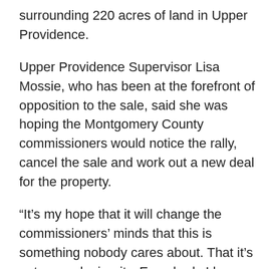surrounding 220 acres of land in Upper Providence.
Upper Providence Supervisor Lisa Mossie, who has been at the forefront of opposition to the sale, said she was hoping the Montgomery County commissioners would notice the rally, cancel the sale and work out a new deal for the property.
“It’s my hope that it will change the commissioners’ minds that this is something nobody cares about. That it’s not a vocal minority. Everybody I have talked to is upset about this,” Mossie said. “My hope is that this sale is not done. It’s not finalized yet. They’ve cited that as their reason for not releasing the terms of the sale.”
Read more: http://www.timesherald.com/general-news/20131228/protestors-gather-in-norristown-to-